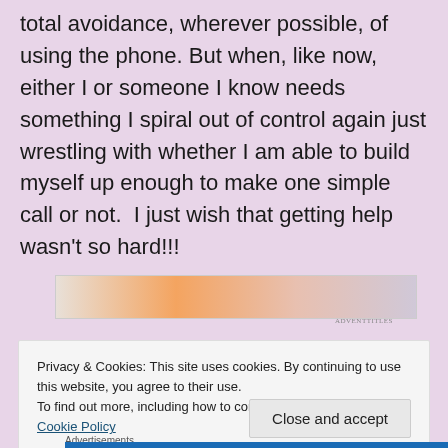lose lose for me because it all adds up to my total avoidance, wherever possible, of using the phone. But when, like now, either I or someone I know needs something I spiral out of control again just wrestling with whether I am able to build myself up enough to make one simple call or not.  I just wish that getting help wasn't so hard!!!
[Figure (other): Partial advertisement banner with gradient colors from beige to orange to pink to purple]
Privacy & Cookies: This site uses cookies. By continuing to use this website, you agree to their use.
To find out more, including how to control cookies, see here:
Cookie Policy
Close and accept
Advertisements